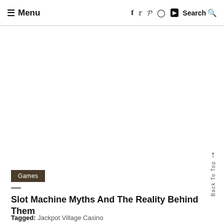≡ Menu  f  🐦  𝒫  ⊙  ▶  Search 🔍
Games
Slot Machine Myths And The Reality Behind Them
Tagged: Jackpot Village Casino